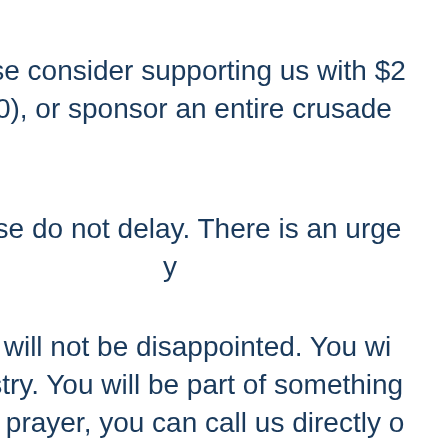Please consider supporting us with $2... $500), or sponsor an entire crusade...
Please do not delay. There is an urge... y...
You will not be disappointed. You wi... ministry. You will be part of something... need prayer, you can call us directly o... you. We will also keep you update...
God Himself sees your sa...